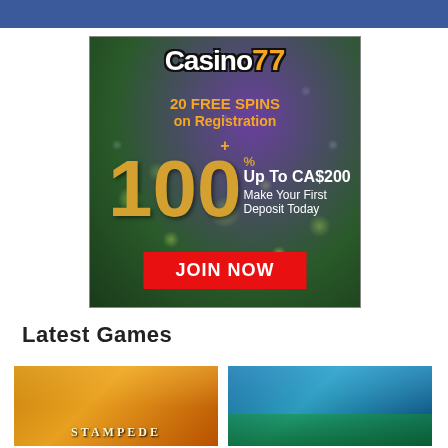[Figure (advertisement): Casino77 advertisement banner showing '20 FREE SPINS on Registration + 100% Up To CA$200 Make Your First Deposit Today' with a JOIN NOW button on a green/purple bokeh background]
Latest Games
[Figure (photo): Bottom left game thumbnail - Stampede slot game with golden/orange theme]
[Figure (photo): Bottom right game thumbnail - beach/tropical themed slot game with blue sky]